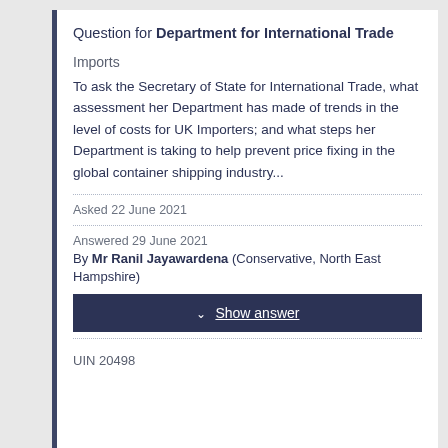Question for Department for International Trade
Imports
To ask the Secretary of State for International Trade, what assessment her Department has made of trends in the level of costs for UK Importers; and what steps her Department is taking to help prevent price fixing in the global container shipping industry...
Asked 22 June 2021
Answered 29 June 2021
By Mr Ranil Jayawardena (Conservative, North East Hampshire)
Show answer
UIN 20498